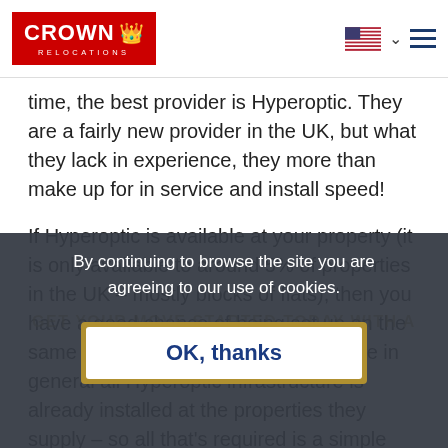Crown Relocations
time, the best provider is Hyperoptic. They are a fairly new provider in the UK, but what they lack in experience, they more than make up for in service and install speed!
If Hyperoptic is available at your property (it is only available to around 5% of properties in the UK – mostly blocks of flats), then you have a good chance of being set up on the same day you move in. This is because in general all Hyperoptic infrastructure is already installed at the properties they supply – so all that's required is a simple router activation which can be done remotely in
By continuing to browse the site you are agreeing to our use of cookies.
GET YOUR MOVE STARTED TODAY WITH A NO OBLIGATION QUOTE
OK, thanks